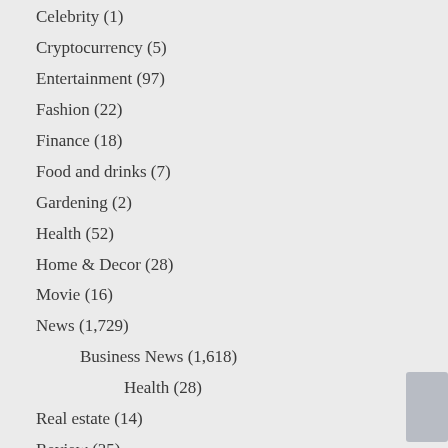Celebrity (1)
Cryptocurrency (5)
Entertainment (97)
Fashion (22)
Finance (18)
Food and drinks (7)
Gardening (2)
Health (52)
Home & Decor (28)
Movie (16)
News (1,729)
Business News (1,618)
Health (28)
Real estate (14)
Review (35)
Sports (16)
Tech (173)